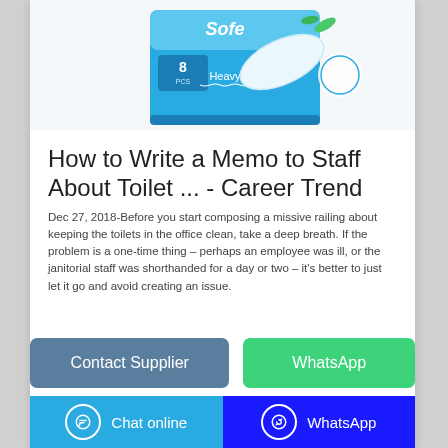[Figure (photo): Product photo: a package of sanitary pads, 8 pcs Heavy, teal/blue box with white pad image and green leaf accents.]
How to Write a Memo to Staff About Toilet ... - Career Trend
Dec 27, 2018-Before you start composing a missive railing about keeping the toilets in the office clean, take a deep breath. If the problem is a one-time thing – perhaps an employee was ill, or the janitorial staff was shorthanded for a day or two – it's better to just let it go and avoid creating an issue.
Contact Supplier
WhatsApp
Chat online  |  WhatsApp